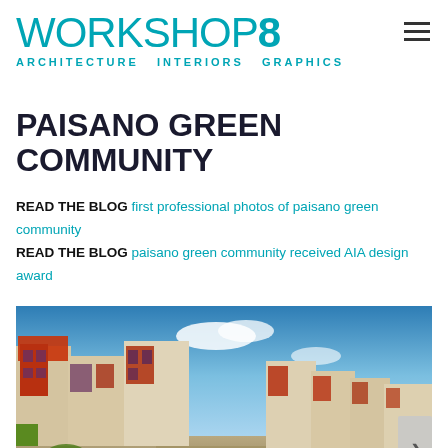WORKSHOP8 ARCHITECTURE  INTERIORS  GRAPHICS
PAISANO GREEN COMMUNITY
READ THE BLOG first professional photos of paisano green community
READ THE BLOG paisano green community received AIA design award
[Figure (photo): Exterior photo of Paisano Green Community housing development showing colorful multi-story residential buildings with red, orange, green, and beige panels under a blue sky, with a streetscape visible.]